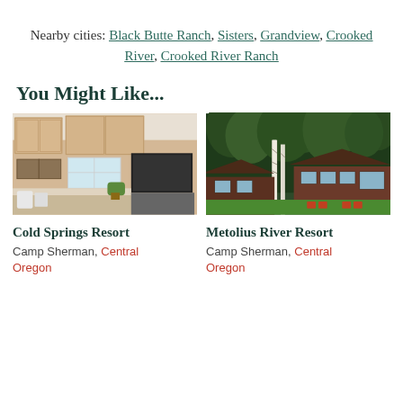Nearby cities: Black Butte Ranch, Sisters, Grandview, Crooked River, Crooked River Ranch
You Might Like...
[Figure (photo): Interior photo of a kitchen with wooden cabinets and stainless appliances]
Cold Springs Resort
Camp Sherman, Central Oregon
[Figure (photo): Exterior photo of a resort building surrounded by tall pine trees with green lawn]
Metolius River Resort
Camp Sherman, Central Oregon